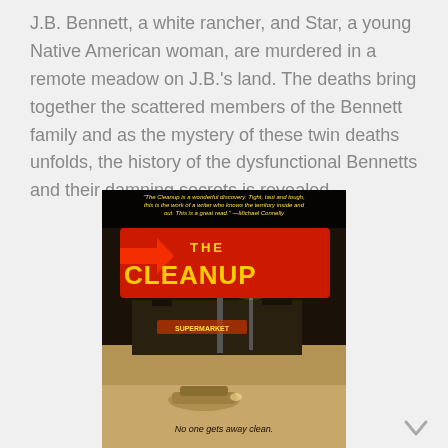J.B. Bennett, a white rancher, and Star, a young Native American woman, are murdered in a remote meadow on J.B.'s land. The deaths bring together the scattered members of the Bennett family and as the mystery of these twin deaths unfolds, the history of the dysfunctional Bennetts and their damning secrets is revealed.
[Figure (photo): Book cover of 'The Cleanup' showing a neon sign reading 'THE CLEANUP' in red and yellow letters, a supermarket building at night, a car in the foreground, and a quote from Michael Connelly at the top. Caption at the bottom reads 'No one gets away clean.']